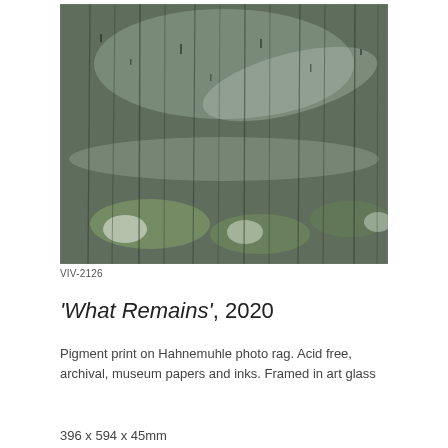[Figure (photo): Close-up photograph of a weathered, textured surface with dark streaks and patches of green and white, resembling aged concrete or natural stone with lichen or moss growth. The image is abstract and atmospheric.]
VIV-2126
'What Remains', 2020
Pigment print on Hahnemuhle photo rag. Acid free, archival, museum papers and inks. Framed in art glass
396 x 594 x 45mm